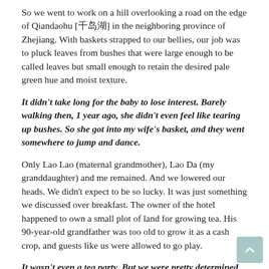So we went to work on a hill overlooking a road on the edge of Qiandaohu [千岛湖] in the neighboring province of Zhejiang. With baskets strapped to our bellies, our job was to pluck leaves from bushes that were large enough to be called leaves but small enough to retain the desired pale green hue and moist texture.
It didn't take long for the baby to lose interest. Barely walking then, 1 year ago, she didn't even feel like tearing up bushes. So she got into my wife's basket, and they went somewhere to jump and dance.
Only Lao Lao (maternal grandmother), Lao Da (my granddaughter) and me remained. And we lowered our heads. We didn't expect to be so lucky. It was just something we discussed over breakfast. The owner of the hotel happened to own a small plot of land for growing tea. His 90-year-old grandfather was too old to grow it as a cash crop, and guests like us were allowed to go play.
It wasn't even a tea party. But we were pretty determined to